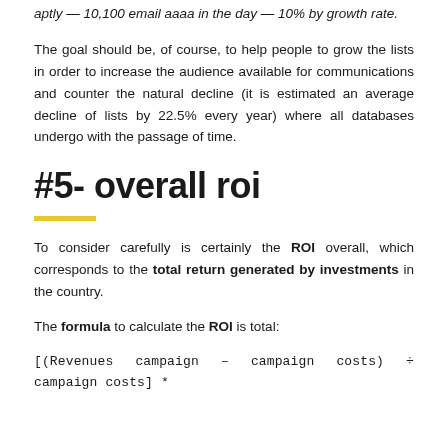…aptly — 10,100 email aaaa in the day — 10% by growth rate.
The goal should be, of course, to help people to grow the lists in order to increase the audience available for communications and counter the natural decline (it is estimated an average decline of lists by 22.5% every year) where all databases undergo with the passage of time.
#5- overall roi
To consider carefully is certainly the ROI overall, which corresponds to the total return generated by investments in the country.
The formula to calculate the ROI is total: